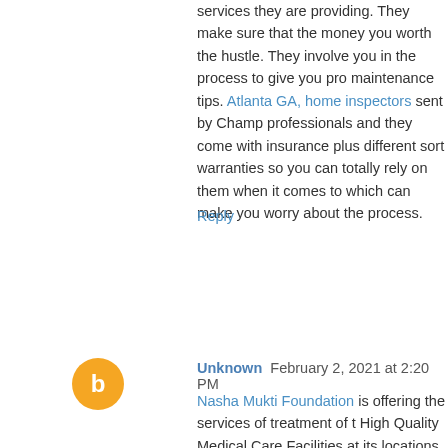services they are providing. They make sure that the money you worth the hustle. They involve you in the process to give you pro maintenance tips. Atlanta GA, home inspectors sent by Champ professionals and they come with insurance plus different sort warranties so you can totally rely on them when it comes to which can make you worry about the process.
Reply
Unknown  February 2, 2021 at 2:20 PM
Nasha Mukti Foundation is offering the services of treatment of High Quality Medical Care Facilities at its locations.
Nasha Mukti Foundation is providing services in the following pl.
Nasha Mukti Kendra in Jammu
Nasha Mukti Kendra in Punjab
Nasha Mukti Kendra in Himachal
Nasha Mukti Kendra in Chandigarh
De-Addiction Centre in Jammu
De-Addiction Centre in Punjab